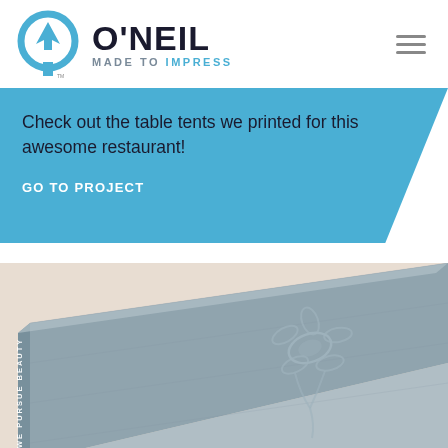[Figure (logo): O'Neil Made to Impress logo with circular blue arrow icon and company name]
Check out the table tents we printed for this awesome restaurant!
GO TO PROJECT
[Figure (photo): Close-up photo of a blue-grey hardcover book with embossed floral design on the cover and 'WE PURSUE BEAUTY' printed on the spine]